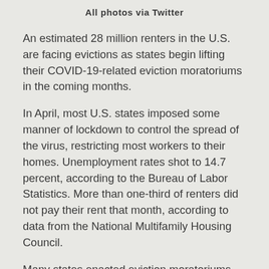All photos via Twitter
An estimated 28 million renters in the U.S. are facing evictions as states begin lifting their COVID-19-related eviction moratoriums in the coming months.
In April, most U.S. states imposed some manner of lockdown to control the spread of the virus, restricting most workers to their homes. Unemployment rates shot to 14.7 percent, according to the Bureau of Labor Statistics. More than one-third of renters did not pay their rent that month, according to data from the National Multifamily Housing Council.
Many states enacted eviction moratoriums, banning landlords from evicting renters who lost their...